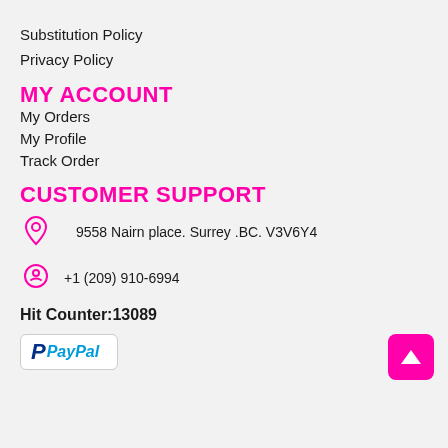Substitution Policy
Privacy Policy
MY ACCOUNT
My Orders
My Profile
Track Order
CUSTOMER SUPPORT
9558 Nairn place. Surrey .BC. V3V6Y4
+1 (209) 910-6994
Hit Counter:13089
[Figure (logo): PayPal logo with blue P icon and PayPal text in blue italic font]